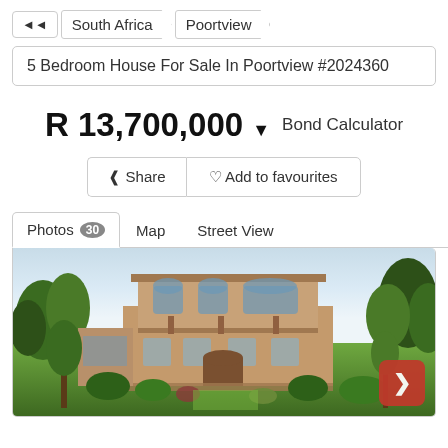◄◄  South Africa  Poortview
5 Bedroom House For Sale In Poortview #2024360
R 13,700,000 ▼   Bond Calculator
Share   Add to favourites
Photos 30   Map   Street View
[Figure (photo): Exterior photo of a large two-storey residential house in Poortview surrounded by trees and green lawn, overcast sky background.]